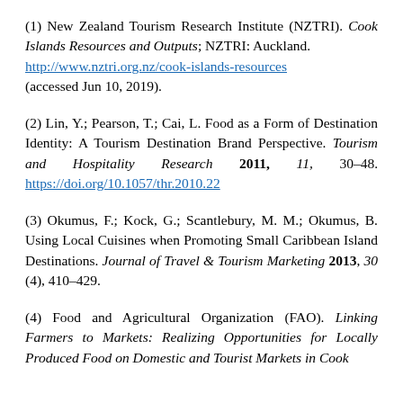(1) New Zealand Tourism Research Institute (NZTRI). Cook Islands Resources and Outputs; NZTRI: Auckland. http://www.nztri.org.nz/cook-islands-resources (accessed Jun 10, 2019).
(2) Lin, Y.; Pearson, T.; Cai, L. Food as a Form of Destination Identity: A Tourism Destination Brand Perspective. Tourism and Hospitality Research 2011, 11, 30–48. https://doi.org/10.1057/thr.2010.22
(3) Okumus, F.; Kock, G.; Scantlebury, M. M.; Okumus, B. Using Local Cuisines when Promoting Small Caribbean Island Destinations. Journal of Travel & Tourism Marketing 2013, 30 (4), 410–429.
(4) Food and Agricultural Organization (FAO). Linking Farmers to Markets: Realizing Opportunities for Locally Produced Food on Domestic and Tourist Markets in Cook